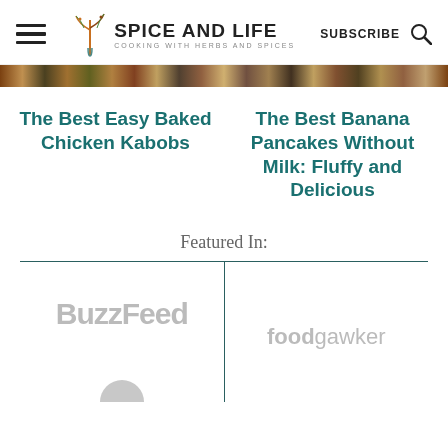SPICE AND LIFE — COOKING WITH HERBS AND SPICES | SUBSCRIBE
[Figure (illustration): Decorative banner strip with earthy tones, possibly showing food imagery thumbnails]
The Best Easy Baked Chicken Kabobs
The Best Banana Pancakes Without Milk: Fluffy and Delicious
Featured In:
[Figure (logo): BuzzFeed logo in light gray]
[Figure (logo): foodgawker logo in light gray]